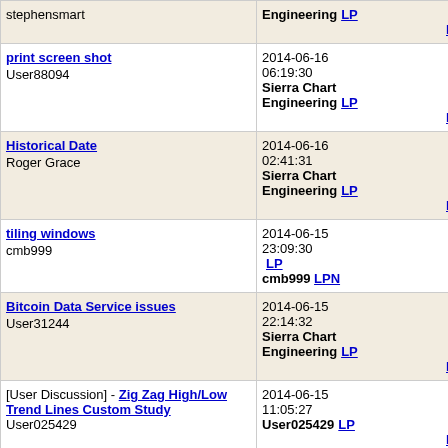| Topic / Starter | Last Post | Rep | Views |
| --- | --- | --- | --- |
| stephensmart | Engineering LP LPN |  |  |
| print screen shot
User88094 | 2014-06-16 06:19:30
Sierra Chart Engineering LP LPN | 1 | 905 |
| Historical Date
Roger Grace | 2014-06-16 02:41:31
Sierra Chart Engineering LP LPN | 7 | 929 |
| tiling windows
cmb999 | 2014-06-15 23:09:30 LP
cmb999 LPN | 0 | 651 |
| Bitcoin Data Service issues
User31244 | 2014-06-15 22:14:32
Sierra Chart Engineering LP LPN | 5 | 961 |
| [User Discussion] - Zig Zag High/Low Trend Lines Custom Study
User025429 | 2014-06-15 11:05:27
User025429 LP LPN | 0 | 708 |
| LTCCNY-OKCOIN showing .. | 2014-06-15 08:48:13
Sierra Chart... |  |  |